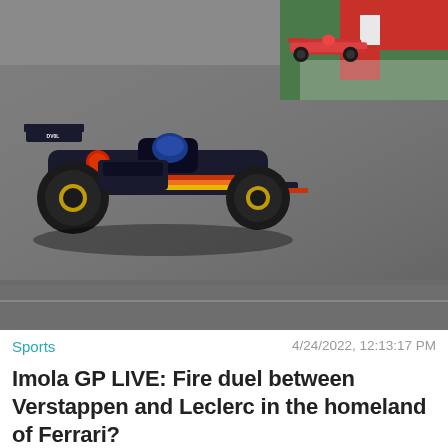[Figure (photo): Formula 1 Red Bull Racing car (dark livery with orange/red/yellow accents, DV0L branding) on a race track, another F1 car visible in the background, colorful curbing visible]
Sports
4/24/2022, 12:13:17 PM
Imola GP LIVE: Fire duel between Verstappen and Leclerc in the homeland of Ferrari?
[Figure (photo): A Ferrari F1 car covered with a red protective cover/sheet in what appears to be a pit lane or paddock area, with buildings and cloudy sky in the background. A publication logo (stylized F) is visible in the upper left corner. A 'Close X' button overlay is visible in the lower right.]